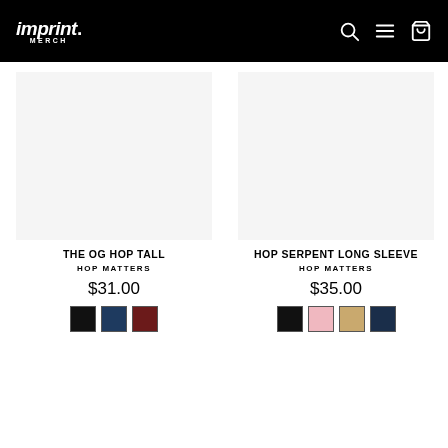imprint. MERCH [navigation bar with search, menu, cart icons]
THE OG HOP TALL
HOP MATTERS
$31.00
[Figure (illustration): Color swatches: black, navy, maroon]
HOP SERPENT LONG SLEEVE
HOP MATTERS
$35.00
[Figure (illustration): Color swatches: black, pink, tan, dark navy]